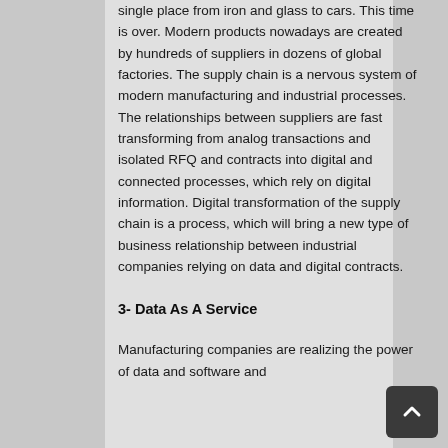single place from iron and glass to cars. This time is over. Modern products nowadays are created by hundreds of suppliers in dozens of global factories. The supply chain is a nervous system of modern manufacturing and industrial processes. The relationships between suppliers are fast transforming from analog transactions and isolated RFQ and contracts into digital and connected processes, which rely on digital information. Digital transformation of the supply chain is a process, which will bring a new type of business relationship between industrial companies relying on data and digital contracts.
3- Data As A Service
Manufacturing companies are realizing the power of data and software and